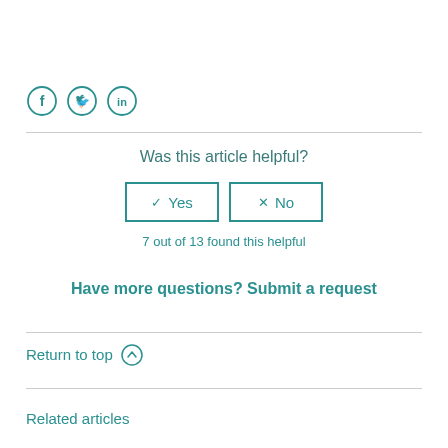[Figure (other): Social media share icons: Facebook, Twitter, LinkedIn circles in teal]
Was this article helpful?
Yes / No buttons
7 out of 13 found this helpful
Have more questions? Submit a request
Return to top
Related articles